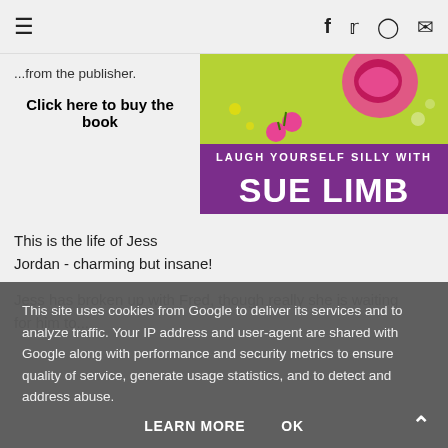Navigation and social icons (hamburger menu, Facebook, Twitter, Instagram, Email)
...from the publisher.
Click here to buy the book
[Figure (illustration): Book cover for 'Laugh Yourself Silly with Sue Limb' — green and purple background with decorative swirl motifs and bold white text]
This is the life of Jess Jordan - charming but insane!
Jess has broken up with Fred, though really she is waiting for him to ...
This site uses cookies from Google to deliver its services and to analyze traffic. Your IP address and user-agent are shared with Google along with performance and security metrics to ensure quality of service, generate usage statistics, and to detect and address abuse.
LEARN MORE    OK